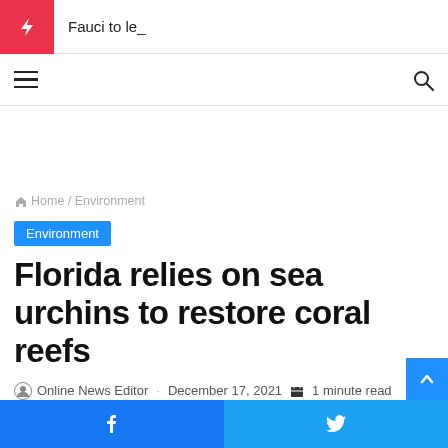Fauci to le_
Home / Environment
Environment
Florida relies on sea urchins to restore coral reefs
Online News Editor · December 17, 2021  1 minute read